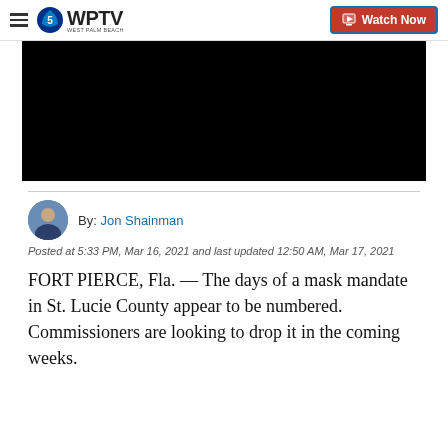WPTV West Palm Beach | Watch Now
[Figure (screenshot): Black video player placeholder]
By: Jon Shainman
Posted at 5:33 PM, Mar 16, 2021 and last updated 12:50 AM, Mar 17, 2021
FORT PIERCE, Fla. — The days of a mask mandate in St. Lucie County appear to be numbered. Commissioners are looking to drop it in the coming weeks.